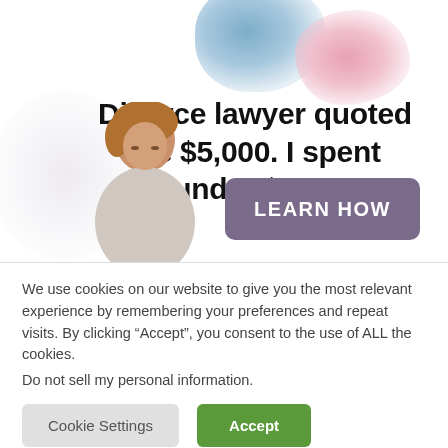[Figure (illustration): Advertisement image with watercolor blue and pink blob shapes at top, a woman looking down in the lower left, and a purple 'LEARN HOW' button. Headline text: Divorce lawyer quoted me $5,000. I spent under $500.]
We use cookies on our website to give you the most relevant experience by remembering your preferences and repeat visits. By clicking “Accept”, you consent to the use of ALL the cookies.
Do not sell my personal information.
Cookie Settings
Accept